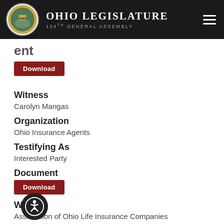Ohio Legislature 134th General Assembly
ent
Download
Witness
Carolyn Mangas
Organization
Ohio Insurance Agents
Testifying As
Interested Party
Document
Download
Witness
Association of Ohio Life Insurance Companies
Organization
Association of Ohio Life Insurance Companies